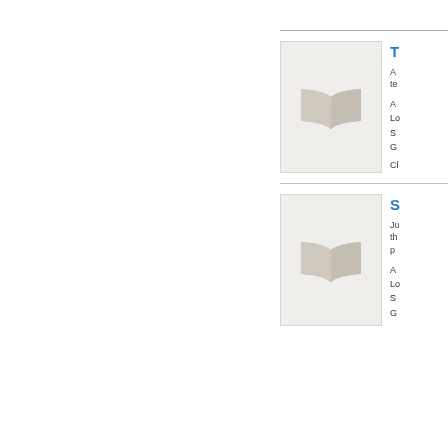[Figure (illustration): Book cover placeholder with open book icon, gray background]
T...
A... te...
A...
Lo...
S...
G...
Cl...
[Figure (illustration): Book cover placeholder with open book icon, gray background]
S...
Ju... th... p...
A...
Lo...
S...
G...